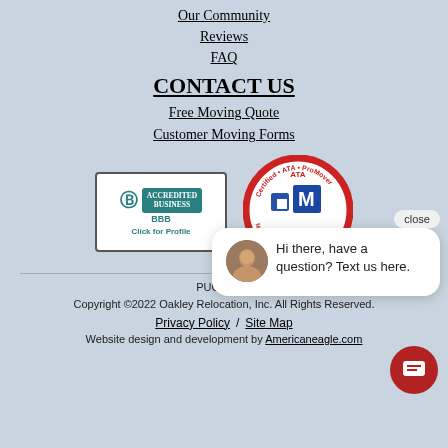Our Community
Reviews
FAQ
CONTACT US
Free Moving Quote
Customer Moving Forms
[Figure (logo): BBB Accredited Business badge with teal background and 'Click for Profile' text]
[Figure (logo): Certified ATA ProMover Moving & Storage Conference circular badge with blue M logo]
PUC# 19… [partially obscured]
Copyright ©2022 Oakley Relocation, Inc. All Rights Reserved.
Privacy Policy  /  Site Map
Website design and development by Americaneagle.com